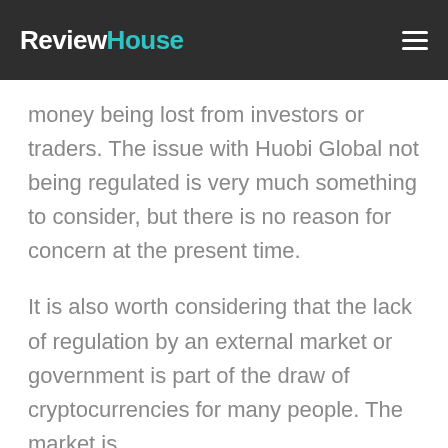ReviewHouse
money being lost from investors or traders. The issue with Huobi Global not being regulated is very much something to consider, but there is no reason for concern at the present time.
It is also worth considering that the lack of regulation by an external market or government is part of the draw of cryptocurrencies for many people. The market is